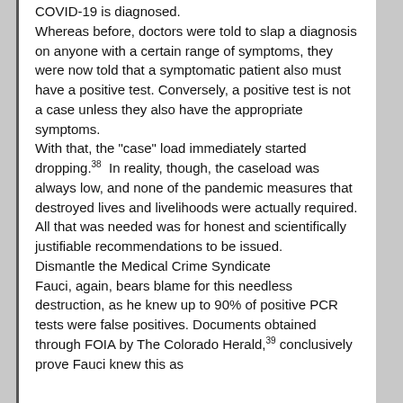COVID-19 is diagnosed. Whereas before, doctors were told to slap a diagnosis on anyone with a certain range of symptoms, they were now told that a symptomatic patient also must have a positive test. Conversely, a positive test is not a case unless they also have the appropriate symptoms. With that, the "case" load immediately started dropping.38  In reality, though, the caseload was always low, and none of the pandemic measures that destroyed lives and livelihoods were actually required. All that was needed was for honest and scientifically justifiable recommendations to be issued. Dismantle the Medical Crime Syndicate Fauci, again, bears blame for this needless destruction, as he knew up to 90% of positive PCR tests were false positives. Documents obtained through FOIA by The Colorado Herald,39 conclusively prove Fauci knew this as